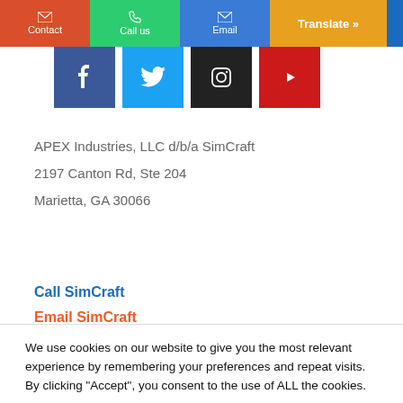Contact | Call us | Email | Translate »
[Figure (other): Social media icon buttons: Facebook, Twitter, Instagram, YouTube]
APEX Industries, LLC d/b/a SimCraft
2197 Canton Rd, Ste 204
Marietta, GA 30066
Call SimCraft
We use cookies on our website to give you the most relevant experience by remembering your preferences and repeat visits. By clicking "Accept", you consent to the use of ALL the cookies.
Do not sell my personal information.
Cookie Settings | Accept